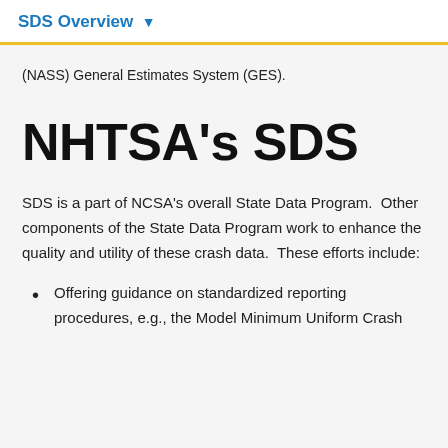SDS Overview
(NASS) General Estimates System (GES).
NHTSA's SDS
SDS is a part of NCSA's overall State Data Program.  Other components of the State Data Program work to enhance the quality and utility of these crash data.  These efforts include:
Offering guidance on standardized reporting procedures, e.g., the Model Minimum Uniform Crash